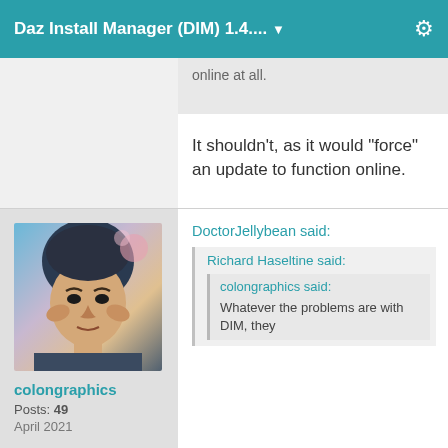Daz Install Manager (DIM) 1.4....
online at all.
It shouldn't, as it would "force" an update to function online.
[Figure (photo): User avatar photo of a young man in a suit, holding his face with both hands, with a stylized artistic filter applied.]
colongraphics
Posts: 49
April 2021
DoctorJellybean said:
Richard Haseltine said:
colongraphics said:
Whatever the problems are with DIM, they